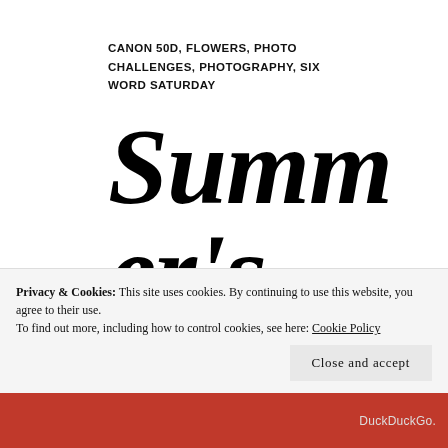CANON 50D, FLOWERS, PHOTO CHALLENGES, PHOTOGRAPHY, SIX WORD SATURDAY
Summer's Here
Privacy & Cookies: This site uses cookies. By continuing to use this website, you agree to their use.
To find out more, including how to control cookies, see here: Cookie Policy
Close and accept